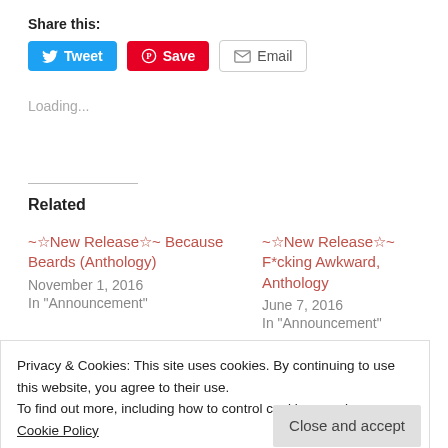Share this:
[Figure (other): Social sharing buttons: Tweet (blue), Save (red Pinterest), Email (grey)]
Loading...
Related
~☆New Release☆~ Because Beards (Anthology)
November 1, 2016
In "Announcement"
~☆New Release☆~ F*cking Awkward, Anthology
June 7, 2016
In "Announcement"
Privacy & Cookies: This site uses cookies. By continuing to use this website, you agree to their use.
To find out more, including how to control cookies, see here: Cookie Policy